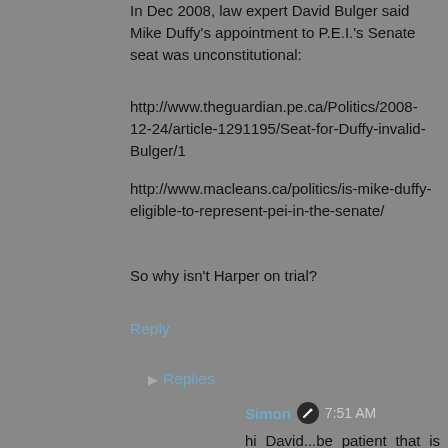In Dec 2008, law expert David Bulger said Mike Duffy's appointment to P.E.I.'s Senate seat was unconstitutional:
http://www.theguardian.pe.ca/Politics/2008-12-24/article-1291195/Seat-for-Duffy-invalid-Bulger/1
http://www.macleans.ca/politics/is-mike-duffy-eligible-to-represent-pei-in-the-senate/
So why isn't Harper on trial?
Reply
Replies
Simon  7:51 AM
hi David...be patient that is where Bayne is taking the trial. First he will prove theSenate had no rules, then he will prove they were all in the same trough, and then he will attempt to prove that the man who appointed Duffy and Carolyn Stewart Olsen also broke their rules so how could anyone